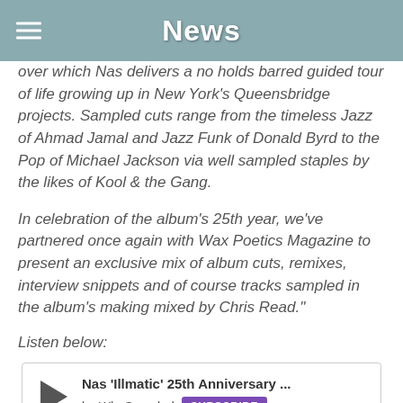News
over which Nas delivers a no holds barred guided tour of life growing up in New York's Queensbridge projects. Sampled cuts range from the timeless Jazz of Ahmad Jamal and Jazz Funk of Donald Byrd to the Pop of Michael Jackson via well sampled staples by the likes of Kool & the Gang.
In celebration of the album's 25th year, we've partnered once again with Wax Poetics Magazine to present an exclusive mix of album cuts, remixes, interview snippets and of course tracks sampled in the album's making mixed by Chris Read."
Listen below:
[Figure (other): Audio player widget showing Nas 'Illmatic' 25th Anniversary ... by WhoSampled with a play button and Subscribe button]